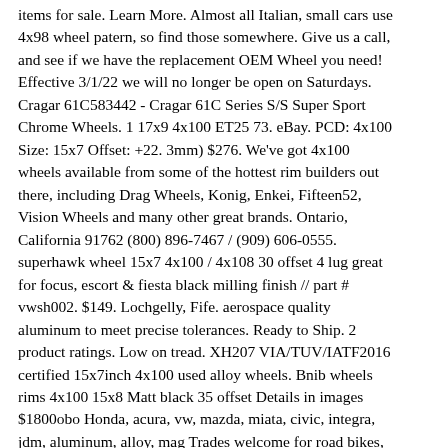items for sale. Learn More. Almost all Italian, small cars use 4x98 wheel patern, so find those somewhere. Give us a call, and see if we have the replacement OEM Wheel you need! Effective 3/1/22 we will no longer be open on Saturdays. Cragar 61C583442 - Cragar 61C Series S/S Super Sport Chrome Wheels. 1 17x9 4x100 ET25 73. eBay. PCD: 4x100 Size: 15x7 Offset: +22. 3mm) $276. We've got 4x100 wheels available from some of the hottest rim builders out there, including Drag Wheels, Konig, Enkei, Fifteen52, Vision Wheels and many other great brands. Ontario, California 91762 (800) 896-7467 / (909) 606-0555. superhawk wheel 15x7 4x100 / 4x108 30 offset 4 lug great for focus, escort & fiesta black milling finish // part # vwsh002. $149. Lochgelly, Fife. aerospace quality aluminum to meet precise tolerances. Ready to Ship. 2 product ratings. Low on tread. XH207 VIA/TUV/IATF2016 certified 15x7inch 4x100 used alloy wheels. Bnib wheels rims 4x100 15x8 Matt black 35 offset Details in images $1800obo Honda, acura, vw, mazda, miata, civic, integra, jdm, aluminum, alloy, mag Trades welcome for road bikes, snowboard, mountain bikes. Ronal Racing magnesium mesh wheels 4x100 15" staggered $2,750 Bryce H $624 New 15x7 Enkei92 4x100 (Silver, Black or Gold) $624 FiveBy Wheels 1 review $690 JDM Silver 14" Wheel Set. Mugen MF8 16" Silver 4X114. I buy and sell vintage Japanese alloy wheels. FAQ. ENKEI custom wheels deliver the latest in wheel designs, composite alloy technology such as, casting/forged processes, rigid testing that must pass stringent JCTC Standards and unsurpassed...95/ Piece.